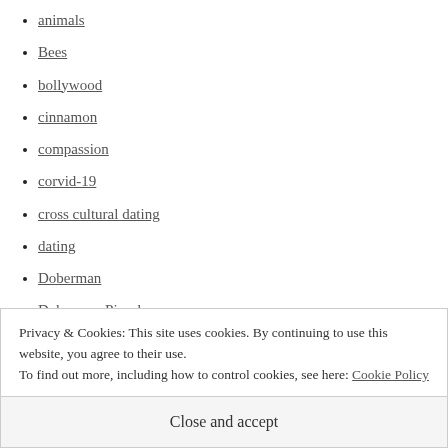animals
Bees
bollywood
cinnamon
compassion
corvid-19
cross cultural dating
dating
Doberman
Doberman Pinscher
dog park
dogs
Privacy & Cookies: This site uses cookies. By continuing to use this website, you agree to their use.
To find out more, including how to control cookies, see here: Cookie Policy
Close and accept